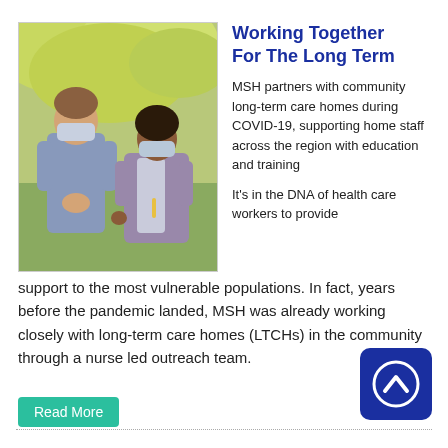[Figure (photo): Two nurses wearing blue scrubs and face masks standing outdoors in front of trees with autumn foliage]
Working Together For The Long Term
MSH partners with community long-term care homes during COVID-19, supporting home staff across the region with education and training
It's in the DNA of health care workers to provide support to the most vulnerable populations. In fact, years before the pandemic landed, MSH was already working closely with long-term care homes (LTCHs) in the community through a nurse led outreach team.
Read More
[Figure (logo): Blue rounded square logo with white upward chevron/arrow symbol]